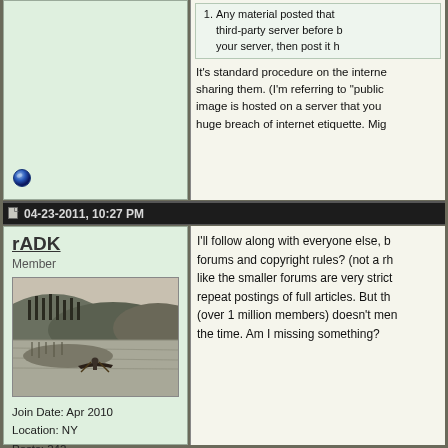1. Any material posted that ... third-party server before b... your server, then post it h...
It's standard procedure on the interne... sharing them. (I'm referring to "public... image is hosted on a server that you... huge breach of internet etiquette. Mig...
[Figure (screenshot): Small blue offline status indicator icon]
04-23-2011, 10:27 PM
rADK
Member
[Figure (photo): Black and white photograph of a person in a canoe on a lake with forested hills in background]
Join Date: Apr 2010
Location: NY
Posts: 242
I'll follow along with everyone else, b... forums and copyright rules? (not a rh... like the smaller forums are very strict... repeat postings of full articles. But th... (over 1 million members) doesn't men... the time. Am I missing something?